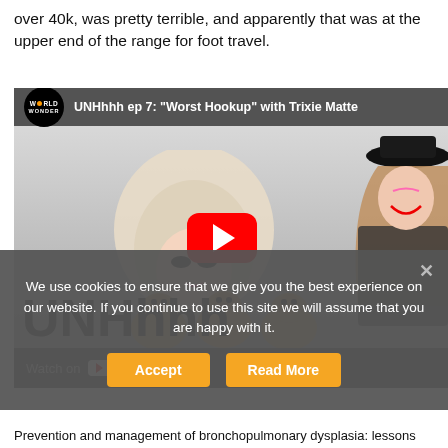over 40k, was pretty terrible, and apparently that was at the upper end of the range for foot travel.
[Figure (screenshot): YouTube video embed showing 'UNHhhh ep 7: Worst Hookup with Trixie Matte...' by World Wonder channel. Features two drag performers, three Pomeranian dogs, and a red YouTube play button. The bottom shows large black 'UNHhhh' text and a dark 'Watch on YouTube' bar.]
We use cookies to ensure that we give you the best experience on our website. If you continue to use this site we will assume that you are happy with it.
Accept
Read More
Prevention and management of bronchopulmonary dysplasia: lessons